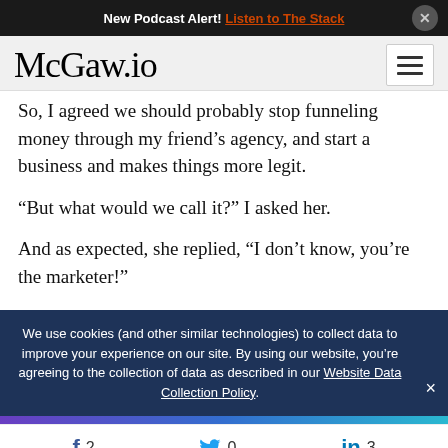New Podcast Alert! Listen to The Stack
McGaw.io
So, I agreed we should probably stop funneling money through my friend's agency, and start a business and makes things more legit.
“But what would we call it?” I asked her.
And as expected, she replied, “I don’t know, you’re the marketer!”
We use cookies (and other similar technologies) to collect data to improve your experience on our site. By using our website, you’re agreeing to the collection of data as described in our Website Data Collection Policy.
f 2   0   in 3